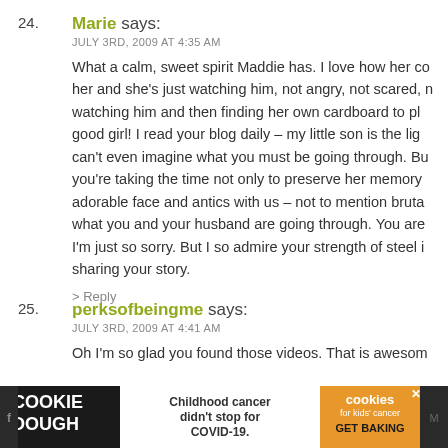24. Marie says:
JULY 3RD, 2009 AT 4:35 AM

What a calm, sweet spirit Maddie has. I love how her co her and she's just watching him, not angry, not scared, n watching him and then finding her own cardboard to pl good girl! I read your blog daily – my little son is the lig can't even imagine what you must be going through. Bu you're taking the time not only to preserve her memory adorable face and antics with us – not to mention bruta what you and your husband are going through. You are I'm just so sorry. But I so admire your strength of steel i sharing your story.

> Reply
25. perksofbeingme says:
JULY 3RD, 2009 AT 4:41 AM

Oh I'm so glad you found those videos. That is awesom
[Figure (infographic): Cookie Dough advertisement banner at bottom of page. Black background with 'COOKIE DOUGH' text in white, center white section with 'Childhood cancer didn't stop for COVID-19.' text, orange section with 'cookies for kids cancer GET BAKING' text.]